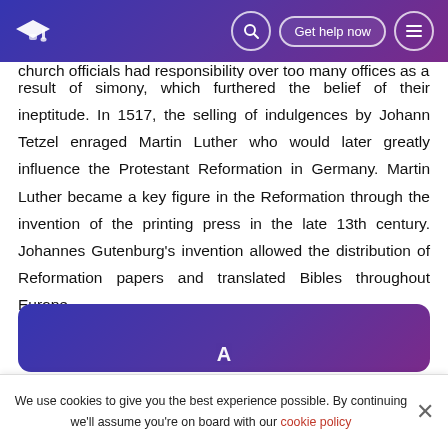[Navigation bar with mortarboard logo, search, Get help now, menu]
church officials had responsibility over too many offices as a result of simony, which furthered the belief of their ineptitude. In 1517, the selling of indulgences by Johann Tetzel enraged Martin Luther who would later greatly influence the Protestant Reformation in Germany. Martin Luther became a key figure in the Reformation through the invention of the printing press in the late 13th century. Johannes Gutenburg's invention allowed the distribution of Reformation papers and translated Bibles throughout Europe.
[Figure (other): Blue/purple gradient banner with partial text visible at bottom of page]
We use cookies to give you the best experience possible. By continuing we'll assume you're on board with our cookie policy